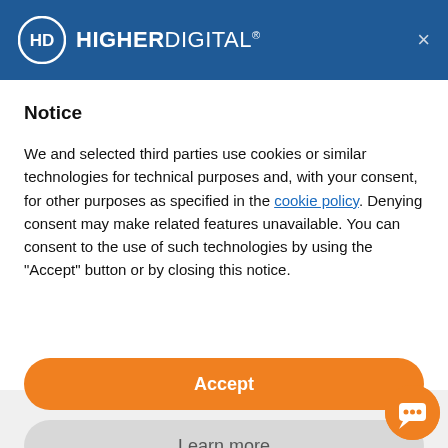HIGHER DIGITAL®
Notice
We and selected third parties use cookies or similar technologies for technical purposes and, with your consent, for other purposes as specified in the cookie policy. Denying consent may make related features unavailable. You can consent to the use of such technologies by using the "Accept" button or by closing this notice.
Accept
Learn more
Higher Digital has just published the